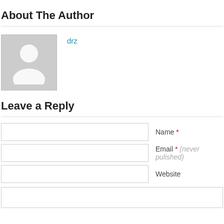About The Author
[Figure (illustration): Grey placeholder avatar image showing a silhouette of a person]
drz
Leave a Reply
Name *
Email * (never pulished)
Website